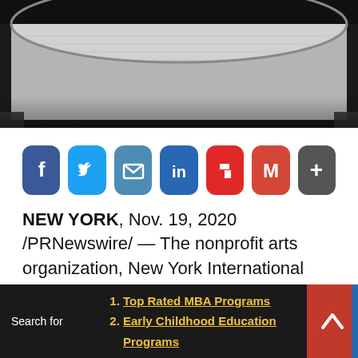[Figure (photo): Black and white photo of a printing press with paper rolling through machinery]
[Figure (infographic): Row of social sharing icon buttons: Facebook (blue), Twitter (light blue), Email (blue), LinkedIn (dark blue), Flipboard (red), Gmail (red-orange), More/Plus (gray)]
NEW YORK, Nov. 19, 2020 /PRNewswire/ — The nonprofit arts organization, New York International Children's Film Festival (NYICFF), announced today that it is expanding its signature film education program, FilmEd, to launch as a free online program serving K-8 classrooms nationwide. Innumerable
Search for  1. Top Rated MBA Programs  2. Early Childhood Education Programs